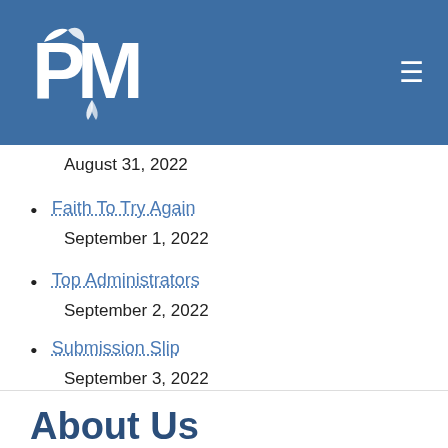PM logo and navigation menu
August 31, 2022
Faith To Try Again
September 1, 2022
Top Administrators
September 2, 2022
Submission Slip
September 3, 2022
About Us